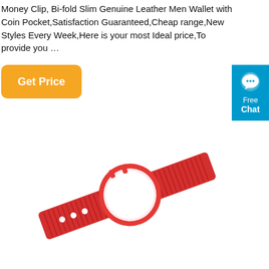Money Clip, Bi-fold Slim Genuine Leather Men Wallet with Coin Pocket,Satisfaction Guaranteed,Cheap range,New Styles Every Week,Here is your most Ideal price,To provide you …
[Figure (other): Orange rounded rectangle button with white text 'Get Price']
[Figure (other): Blue chat widget with speech bubble icon and text 'Free Chat']
[Figure (photo): Red wristband tracker/AirTag holder with red nylon strap and circular white face, shown at an angle on white background]